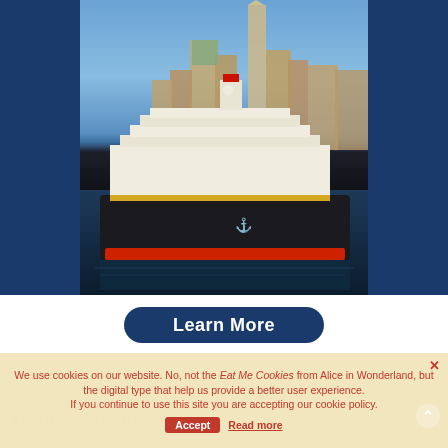[Figure (photo): Disney Cruise Line ship sailing in front of New York City skyline with skyscrapers including One World Trade Center, photographed from water level on a clear day.]
Learn More
We use cookies on our website. No, not the Eat Me Cookies from Alice in Wonderland, but the digital type that help us provide a better user experience.
If you continue to use this site you are accepting our cookie policy.
Accept  Read more
Tropical Weather Center
Invest 91l